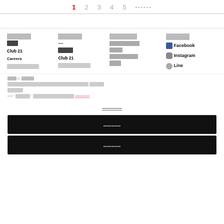1  2  3  4  5  ▪▪▪▪▪▪
Footer navigation columns: column 1 header, items including Club 21 and Careers; column 2 header, items; column 3 header, items; column 4 header with Facebook, Instagram, Line social links
Cookie and privacy notice text with link
Cookie settings link (underlined)
Button: accept
Button: accept all